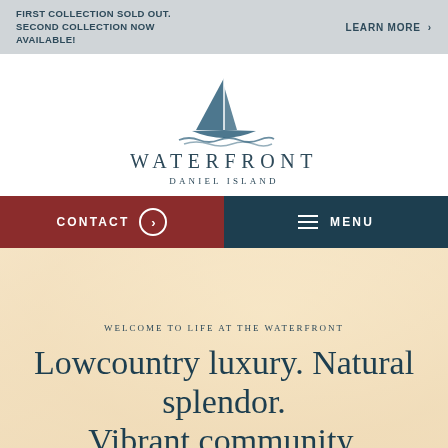FIRST COLLECTION SOLD OUT. SECOND COLLECTION NOW AVAILABLE!
LEARN MORE >
[Figure (logo): Waterfront Daniel Island sailboat logo with waves, text WATERFRONT DANIEL ISLAND]
CONTACT >
MENU
WELCOME TO LIFE AT THE WATERFRONT
Lowcountry luxury. Natural splendor. Vibrant community.